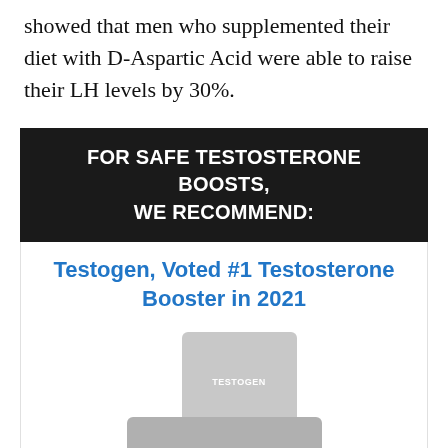showed that men who supplemented their diet with D-Aspartic Acid were able to raise their LH levels by 30%.
FOR SAFE TESTOSTERONE BOOSTS, WE RECOMMEND:
Testogen, Voted #1 Testosterone Booster in 2021
[Figure (photo): Testogen product bottles/packages shown as a product photo, appearing in greyed/faded tones with the Testogen branding visible]